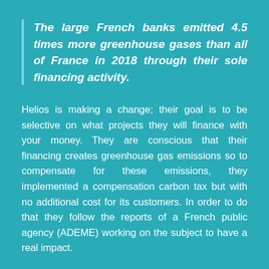The large French banks emitted 4.5 times more greenhouse gases than all of France in 2018 through their sole financing activity.
Helios is making a change; their goal is to be selective on what projects they will finance with your money. They are conscious that their financing creates greenhouse gas emissions so to compensate for these emissions, they implemented a compensation carbon tax but with no additional cost for its customers. In order to do that they follow the reports of a French public agency (ADEME) working on the subject to have a real impact.
Banks are shaping the world of tomorrow, let's hold them accountable.